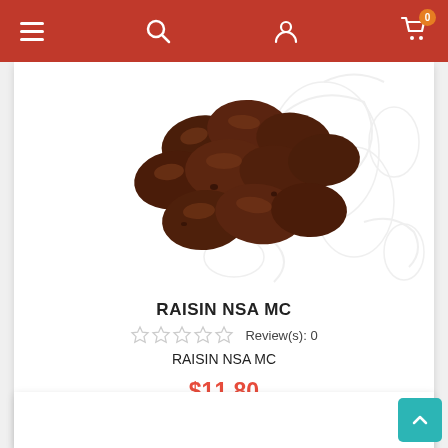Navigation bar with hamburger menu, search, user, and cart (0 items)
[Figure (photo): Chocolate-covered raisins piled together on a white background with a faint decorative grape illustration]
RAISIN NSA MC
☆☆☆☆☆ Review(s): 0
RAISIN NSA MC
$11.80
Add to cart